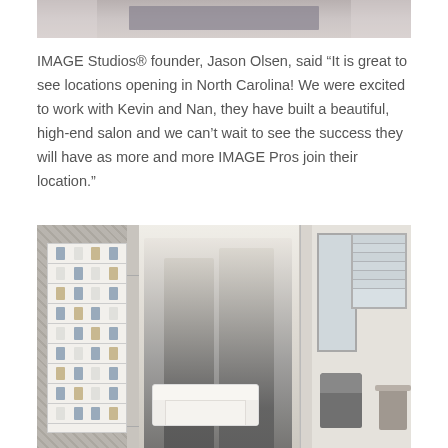[Figure (photo): Partial top of a photo showing an interior floor/entrance with a dark rug, cropped at top of page]
IMAGE Studios® founder, Jason Olsen, said “It is great to see locations opening in North Carolina! We were excited to work with Kevin and Nan, they have built a beautiful, high-end salon and we can’t wait to see the success they will have as more and more IMAGE Pros join their location.”
[Figure (photo): Interior photo of an IMAGE Studios salon showing shelving with products on the left, a large black-and-white mural of fashion models on the wall, a white sofa, a salon chair, a large mirror, and a window with blinds on the right]